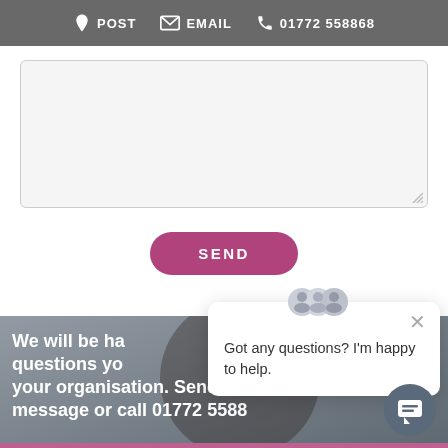POST  EMAIL  01772 558868
[Figure (screenshot): Textarea input field for message, with resize handle at bottom right]
SEND
We will be happy to answer any questions you may have about your organisation. Send us a message or call 01772 5588
[Figure (illustration): Chat popup widget with avatar group icon showing 'Got any questions? I'm happy to help.' and a close X button, plus a circular chat button in the bottom right corner]